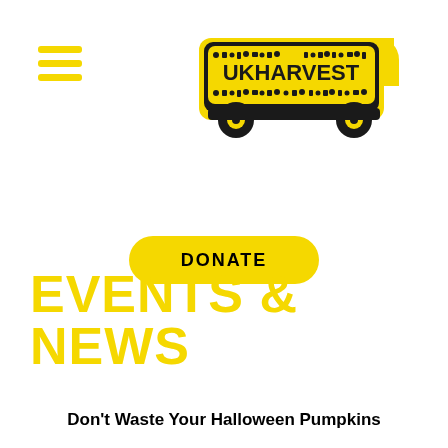[Figure (logo): UKHarvest logo — a delivery van silhouette made up of food icons with UKHARVEST text inside, in black on yellow background]
[Figure (other): Hamburger menu icon with three yellow horizontal lines]
DONATE
EVENTS & NEWS
Don't Waste Your Halloween Pumpkins